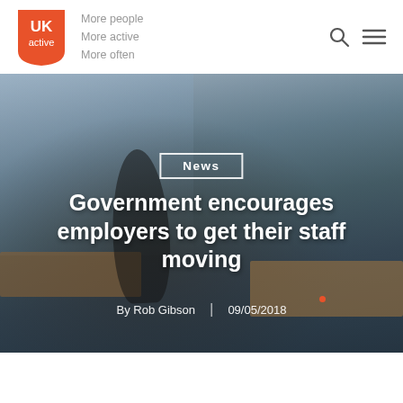[Figure (logo): UKactive logo — orange shield/badge shape with white 'UK active' text and tagline 'More people More active More often']
More people
More active
More often
[Figure (photo): Office background photo: woman stretching/doing yoga in a modern office setting, with desks and city windows visible]
News
Government encourages employers to get their staff moving
By Rob Gibson  |  09/05/2018